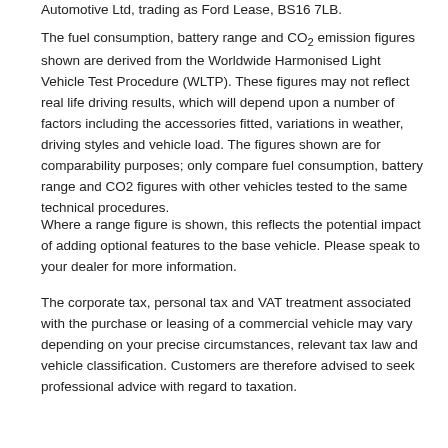Automotive Ltd, trading as Ford Lease, BS16 7LB.
The fuel consumption, battery range and CO₂ emission figures shown are derived from the Worldwide Harmonised Light Vehicle Test Procedure (WLTP). These figures may not reflect real life driving results, which will depend upon a number of factors including the accessories fitted, variations in weather, driving styles and vehicle load. The figures shown are for comparability purposes; only compare fuel consumption, battery range and CO2 figures with other vehicles tested to the same technical procedures.
Where a range figure is shown, this reflects the potential impact of adding optional features to the base vehicle. Please speak to your dealer for more information.
The corporate tax, personal tax and VAT treatment associated with the purchase or leasing of a commercial vehicle may vary depending on your precise circumstances, relevant tax law and vehicle classification. Customers are therefore advised to seek professional advice with regard to taxation.
Cookies Policy